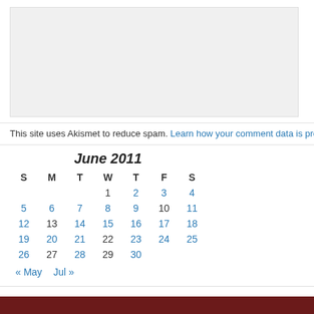[Figure (other): Light gray rectangular placeholder box]
This site uses Akismet to reduce spam. Learn how your comment data is processed.
| S | M | T | W | T | F | S |
| --- | --- | --- | --- | --- | --- | --- |
|  |  |  | 1 | 2 | 3 | 4 |
| 5 | 6 | 7 | 8 | 9 | 10 | 11 |
| 12 | 13 | 14 | 15 | 16 | 17 | 18 |
| 19 | 20 | 21 | 22 | 23 | 24 | 25 |
| 26 | 27 | 28 | 29 | 30 |  |  |
« May   Jul »